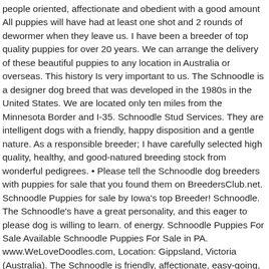people oriented, affectionate and obedient with a good amount All puppies will have had at least one shot and 2 rounds of dewormer when they leave us. I have been a breeder of top quality puppies for over 20 years. We can arrange the delivery of these beautiful puppies to any location in Australia or overseas. This history Is very important to us. The Schnoodle is a designer dog breed that was developed in the 1980s in the United States. We are located only ten miles from the Minnesota Border and I-35. Schnoodle Stud Services. They are intelligent dogs with a friendly, happy disposition and a gentle nature. As a responsible breeder; I have carefully selected high quality, healthy, and good-natured breeding stock from wonderful pedigrees. • Please tell the Schnoodle dog breeders with puppies for sale that you found them on BreedersClub.net. Schnoodle Puppies for sale by Iowa's top Breeder! Schnoodle. The Schnoodle's have a great personality, and this eager to please dog is willing to learn. of energy. Schnoodle Puppies For Sale Available Schnoodle Puppies For Sale in PA. www.WeLoveDoodles.com, Location: Gippsland, Victoria (Australia). The Schnoodle is friendly, affectionate, easy-going, and obedient; making them ideal family dogs. In northern California near Sacramento. The cost to buy a Schnoodle varies greatly and depends on many factors such as the breeders' location, reputation, litter size, lineage of the puppy, breed popularity (supply and demand), training, socialization efforts, breed lines and much more. Schnoodle puppies for sale (Apr 2019) Registered Breeder. (Breeder